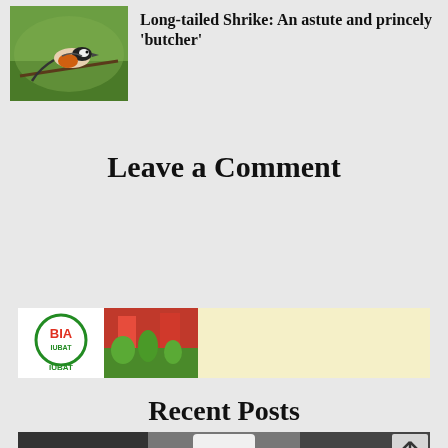[Figure (photo): Thumbnail photo of a Long-tailed Shrike bird perched on a branch with green background]
Long-tailed Shrike: An astute and princely 'butcher'
Leave a Comment
[Figure (logo): IUBAT university logo with a red and green building image beside it, on a pale yellow banner]
Recent Posts
[Figure (photo): Black and white photo of a person wearing a white hat]